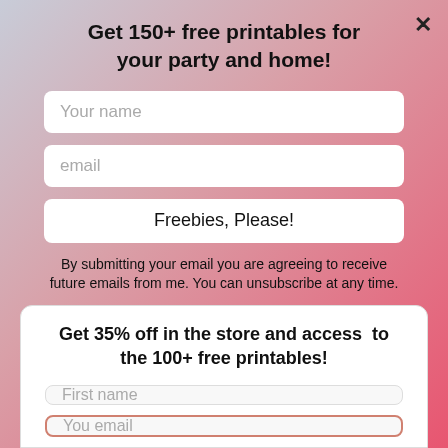Get 150+ free printables for your party and home!
Your name
email
Freebies, Please!
By submitting your email you are agreeing to receive future emails from me. You can unsubscribe at any time.
Get 35% off in the store and access to the 100+ free printables!
First name
You email